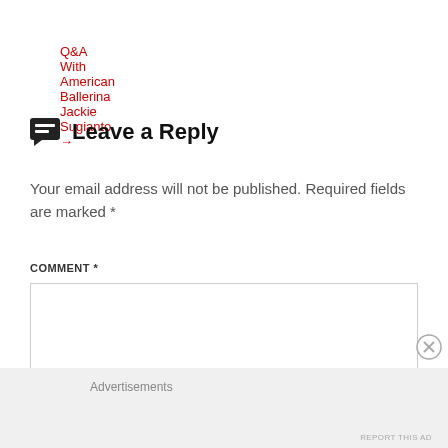Q&A With American Ballerina Jackie Sugianto →
Leave a Reply
Your email address will not be published. Required fields are marked *
COMMENT *
Advertisements
REPORT THIS AD